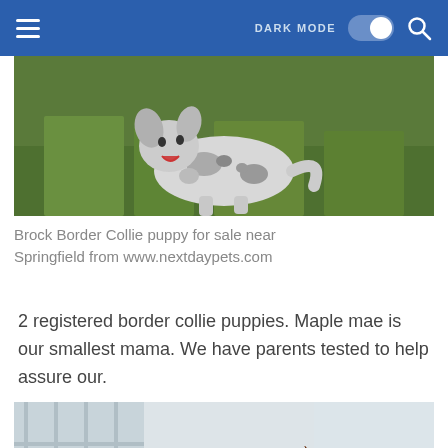DARK MODE [toggle] [search]
[Figure (photo): A merle Border Collie puppy lying in green grass, mouth open, looking up at the camera]
Brock Border Collie puppy for sale near Springfield from www.nextdaypets.com
2 registered border collie puppies. Maple mae is our smallest mama. We have parents tested to help assure our.
[Figure (photo): A Shetland Sheepdog (Sheltie) in profile view, with brown and black fur and a white mane, sitting indoors near white furniture]